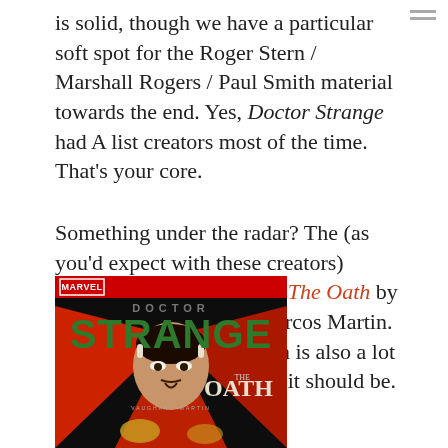is solid, though we have a particular soft spot for the Roger Stern / Marshall Rogers / Paul Smith material towards the end.  Yes, Doctor Strange had A list creators most of the time.  That's your core.
Something under the radar?  The (as you'd expect with these creators) excellent Doctor Strange: The Oath by Brian K, Vaughan and Marcos Martin. The final Waid/Walker run is also a lot more under the radar than it should be.
[Figure (illustration): Book cover for Doctor Strange: The Oath by Vaughan and Martin. Marvel logo in red bar at top. 'Doctor' in gray letters, 'Strange' in large green stylized font. Red cloak and figure of Doctor Strange visible. 'The Oath' in cream/white serif font. Creator names 'Vaughan · Martin' at bottom.]